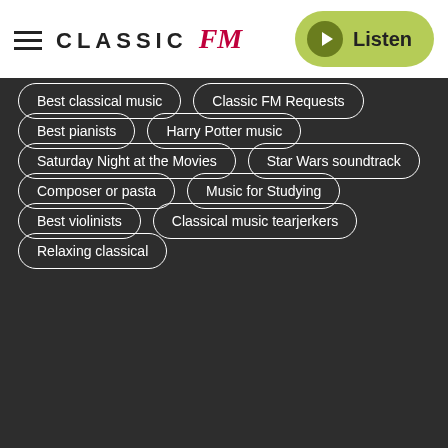[Figure (logo): Classic FM logo with hamburger menu icon on the left and a green Listen button on the right]
Best classical music
Classic FM Requests
Best pianists
Harry Potter music
Saturday Night at the Movies
Star Wars soundtrack
Composer or pasta
Music for Studying
Best violinists
Classical music tearjerkers
Relaxing classical